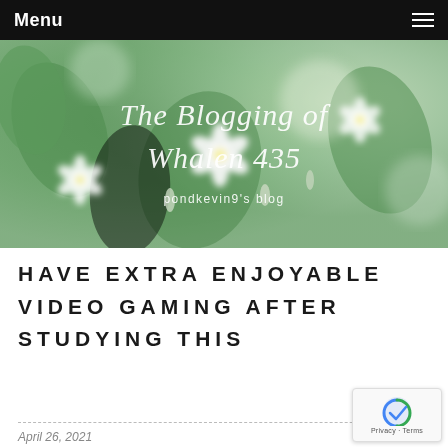Menu
[Figure (photo): Hero banner with blurred white flowers on green background, overlaid with cursive blog title text]
The Blogging of Whalen 435
pondkevin9's blog
HAVE EXTRA ENJOYABLE VIDEO GAMING AFTER STUDYING THIS
April 26, 2021